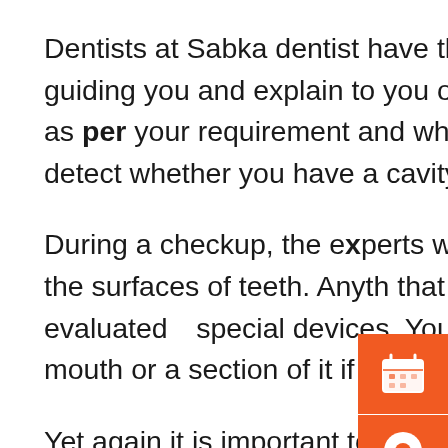Dentists at Sabka dentist have the experience in helping you by guiding you and explain to you of the steps which could be taken as per your requirement and what suits you best , dentist can detect whether you have a cavity that needs to be filled.
During a checkup, the experts will use a small mirror to examine the surfaces of teeth. Anything that looks abnormal will be closely evaluated with special devices. Your dentist may take X-ray of your mouth or a section of it if needed.
Yet again it is important to remember that the type of treatment your dentist chooses depends on the extent of damage caused by decay.
[Figure (infographic): Three orange sidebar buttons with icons: calendar/appointment icon, location pin icon, and Indian rupee coin icon]